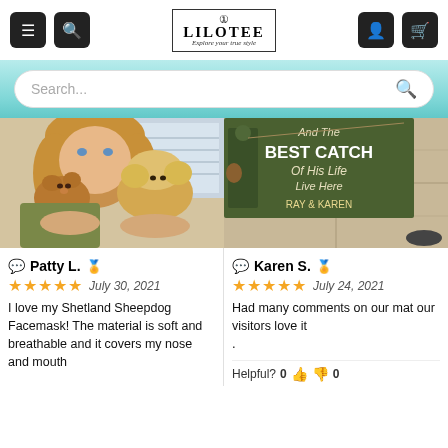LILOTEE — Explore your true style (navigation header)
Search...
[Figure (photo): Woman holding two small dogs (Shetland Sheepdogs) up to her face]
Patty L. ★★★★★ July 30, 2021
I love my Shetland Sheepdog Facemask! The material is soft and breathable and it covers my nose and mouth
[Figure (photo): Doormat reading 'And The BEST CATCH Of His Life Live Here RAY & KAREN' with fisherman graphic]
Karen S. ★★★★★ July 24, 2021
Had many comments on our mat our visitors love it .
Helpful? 0 👍 👎 0